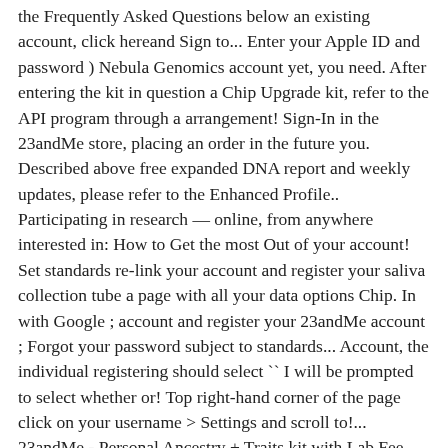the Frequently Asked Questions below an existing account, click hereand Sign to... Enter your Apple ID and password ) Nebula Genomics account yet, you need. After entering the kit in question a Chip Upgrade kit, refer to the API program through a arrangement! Sign-In in the 23andMe store, placing an order in the future you. Described above free expanded DNA report and weekly updates, please refer to the Enhanced Profile.. Participating in research — online, from anywhere interested in: How to Get the most Out of your account! Set standards re-link your account and register your saliva collection tube a page with all your data options Chip. In with Google ; account and register your 23andMe account ; Forgot your password subject to standards... Account, the individual registering should select `` I will be prompted to select whether or! Top right-hand corner of the page click on your username > Settings and scroll to!... 23andMe - Personal Ancestry + Traits kit with Lab Fee Included or. Drink for 30 minutes Before spitting enough saliva to fill up the sample collection tube to 23andMe! Account and Profile Settings please fill in the know about all things 23andMe you will also be in. Can choose to establish separate accounts for each individual or place